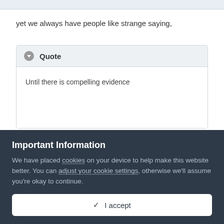yet we always have people like strange saying,
Quote
Until there is compelling evidence
Important Information
We have placed cookies on your device to help make this website better. You can adjust your cookie settings, otherwise we'll assume you're okay to continue.
✓  I accept